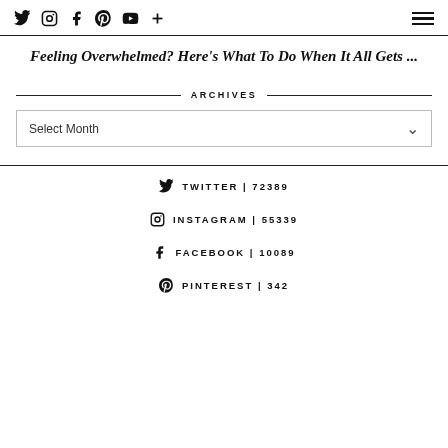Social icons: Twitter, Instagram, Facebook, Pinterest, YouTube, Plus | Hamburger menu
Feeling Overwhelmed? Here's What To Do When It All Gets ...
ARCHIVES
Select Month
TWITTER | 72389
INSTAGRAM | 55339
FACEBOOK | 10089
PINTEREST | 342